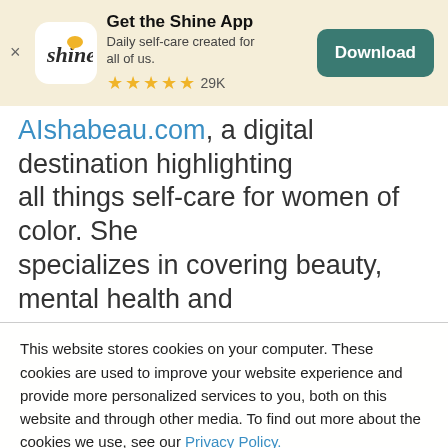[Figure (screenshot): Shine app banner with logo, title 'Get the Shine App', subtitle, stars, and Download button]
AIshabeau.com, a digital destination highlighting all things self-care for women of color. She specializes in covering beauty, mental health and
This website stores cookies on your computer. These cookies are used to improve your website experience and provide more personalized services to you, both on this website and through other media. To find out more about the cookies we use, see our Privacy Policy.
We won't track your information when you visit our site. But in order to comply with your preferences, we'll have to use just one tiny cookie so that you're not asked to make this choice again. By clicking Accept you consent to our use of cookies.
Accept
Decline